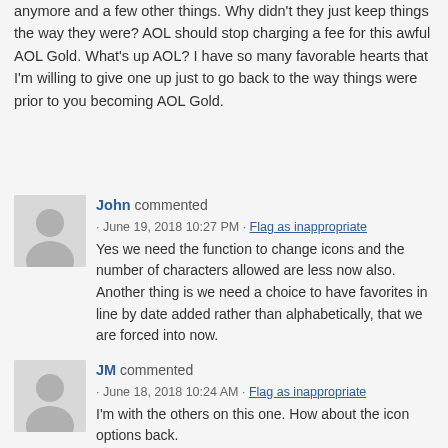anymore and a few other things. Why didn't they just keep things the way they were? AOL should stop charging a fee for this awful AOL Gold. What's up AOL? I have so many favorable hearts that I'm willing to give one up just to go back to the way things were prior to you becoming AOL Gold.
John commented · June 19, 2018 10:27 PM · Flag as inappropriate
Yes we need the function to change icons and the number of characters allowed are less now also. Another thing is we need a choice to have favorites in line by date added rather than alphabetically, that we are forced into now.
JM commented · June 18, 2018 10:24 AM · Flag as inappropriate
I'm with the others on this one. How about the icon options back.